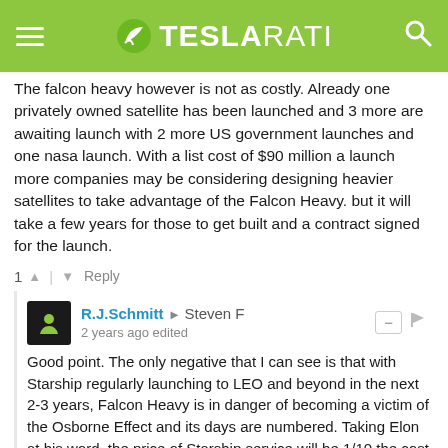TESLARATI
The falcon heavy however is not as costly. Already one privately owned satellite has been launched and 3 more are awaiting launch with 2 more US government launches and one nasa launch. With a list cost of $90 million a launch more companies may be considering designing heavier satellites to take advantage of the Falcon Heavy. but it will take a few years for those to get built and a contract signed for the launch.
1 | Reply
R.J.Schmitt → Steven F
2 years ago edited
Good point. The only negative that I can see is that with Starship regularly launching to LEO and beyond in the next 2-3 years, Falcon Heavy is in danger of becoming a victim of the Osborne Effect and its days are numbered. Taking Elon at his word, the price of Starship service will be 1/10 the cost of Falcon Heavy to